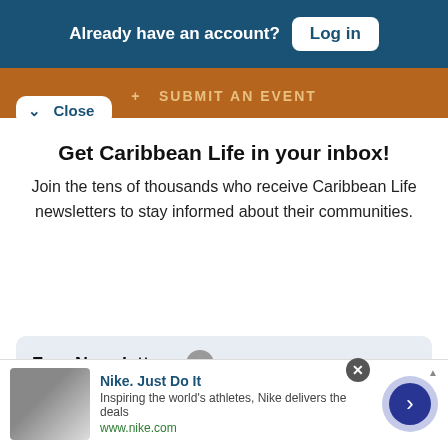Already have an account? Log in
+ SUBMIT AN EVENT
Close
Get Caribbean Life in your inbox!
Join the tens of thousands who receive Caribbean Life newsletters to stay informed about their communities.
Free Newsletters 2
Caribbean Life Daily
Nike. Just Do It
Inspiring the world's athletes, Nike delivers the deals
www.nike.com